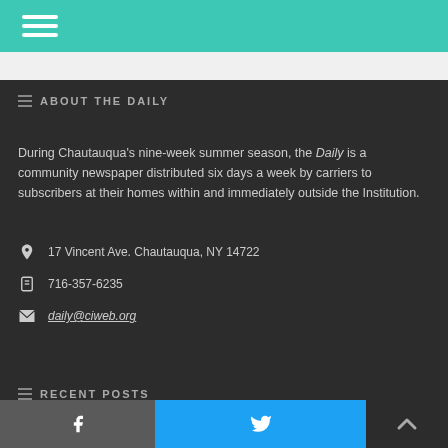ABOUT THE DAILY
During Chautauqua's nine-week summer season, the Daily is a community newspaper distributed six days a week by carriers to subscribers at their homes within and immediately outside the Institution.
17 Vincent Ave. Chautauqua, NY 14722
716-357-6235
daily@ciweb.org
RECENT POSTS
f  Twitter icon  back to top